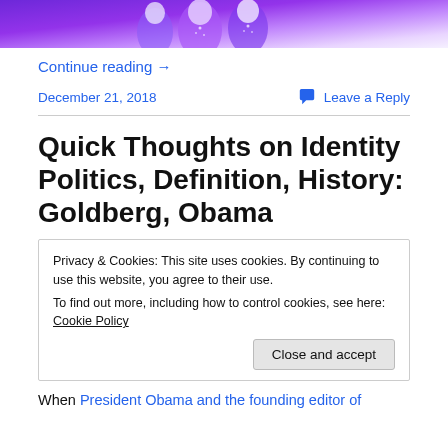[Figure (photo): Partially visible image of performers in purple/violet costumes on stage]
Continue reading →
December 21, 2018
💬 Leave a Reply
Quick Thoughts on Identity Politics, Definition, History: Goldberg, Obama
Privacy & Cookies: This site uses cookies. By continuing to use this website, you agree to their use.
To find out more, including how to control cookies, see here: Cookie Policy
Close and accept
When President Obama and the founding editor of